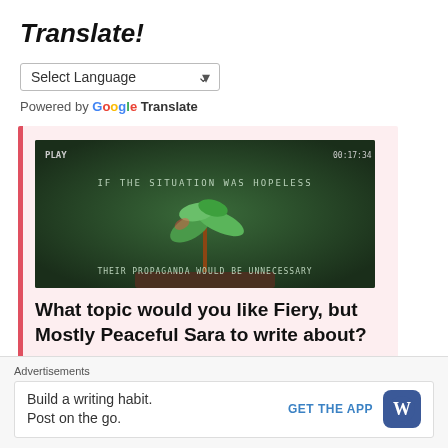Translate!
Select Language
Powered by Google Translate
[Figure (screenshot): Screenshot of a blog post card with a dark green image showing a sprouting plant and the text 'IF THE SITUATION WAS HOPELESS / THEIR PROPAGANDA WOULD BE UNNECESSARY', followed by the heading 'What topic would you like Fiery, but Mostly Peaceful Sara to write about?']
Advertisements
Build a writing habit.
Post on the go.
GET THE APP